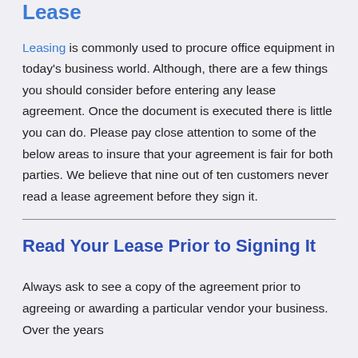Lease
Leasing is commonly used to procure office equipment in today's business world. Although, there are a few things you should consider before entering any lease agreement. Once the document is executed there is little you can do. Please pay close attention to some of the below areas to insure that your agreement is fair for both parties. We believe that nine out of ten customers never read a lease agreement before they sign it.
Read Your Lease Prior to Signing It
Always ask to see a copy of the agreement prior to agreeing or awarding a particular vendor your business. Over the years